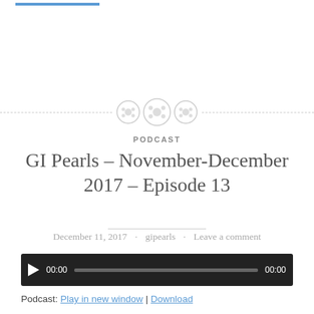[Figure (other): Decorative divider with three button/circle icons on a dashed horizontal line]
PODCAST
GI Pearls – November-December 2017 – Episode 13
December 11, 2017 · gipearls · Leave a comment
[Figure (other): Audio player widget with play button, progress bar showing 00:00 / 00:00]
Podcast: Play in new window | Download